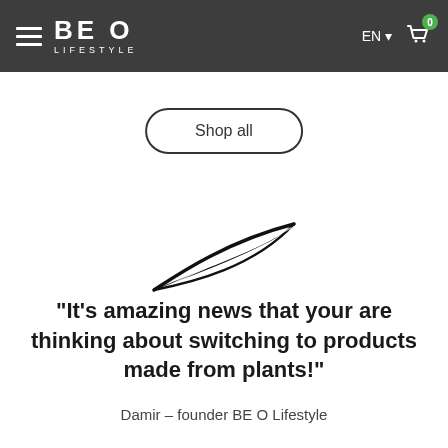BE O LIFESTYLE — navigation bar with hamburger menu, logo, EN language selector, and cart icon (0 items)
Shop all
[Figure (illustration): A stylized black leaf or feather-like swoosh logo/icon]
"It's amazing news that your are thinking about switching to products made from plants!"
Damir – founder BE O Lifestyle